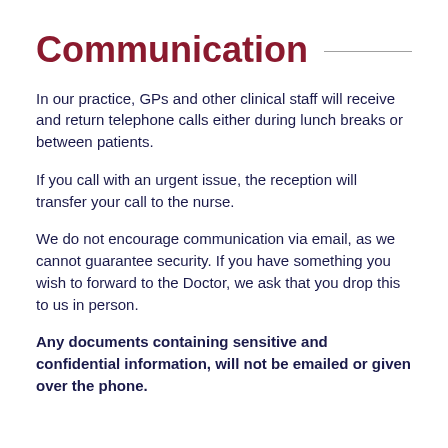Communication
In our practice, GPs and other clinical staff will receive and return telephone calls either during lunch breaks or between patients.
If you call with an urgent issue, the reception will transfer your call to the nurse.
We do not encourage communication via email, as we cannot guarantee security. If you have something you wish to forward to the Doctor, we ask that you drop this to us in person.
Any documents containing sensitive and confidential information, will not be emailed or given over the phone.